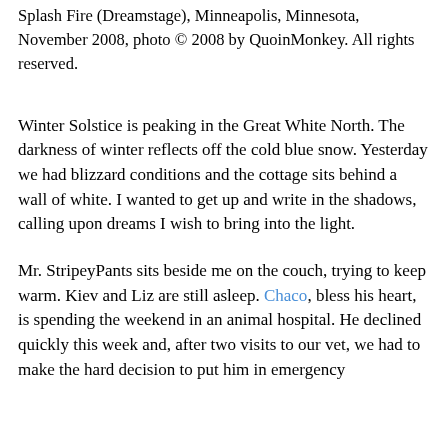Splash Fire (Dreamstage), Minneapolis, Minnesota, November 2008, photo © 2008 by QuoinMonkey. All rights reserved.
Winter Solstice is peaking in the Great White North. The darkness of winter reflects off the cold blue snow. Yesterday we had blizzard conditions and the cottage sits behind a wall of white. I wanted to get up and write in the shadows, calling upon dreams I wish to bring into the light.
Mr. StripeyPants sits beside me on the couch, trying to keep warm. Kiev and Liz are still asleep. Chaco, bless his heart, is spending the weekend in an animal hospital. He declined quickly this week and, after two visits to our vet, we had to make the hard decision to put him in emergency